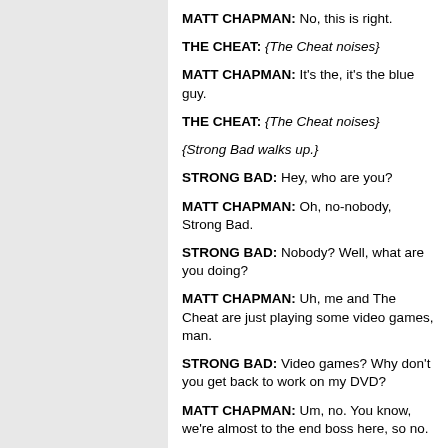MATT CHAPMAN: No, this is right.
THE CHEAT: {The Cheat noises}
MATT CHAPMAN: It's the, it's the blue guy.
THE CHEAT: {The Cheat noises}
{Strong Bad walks up.}
STRONG BAD: Hey, who are you?
MATT CHAPMAN: Oh, no-nobody, Strong Bad.
STRONG BAD: Nobody? Well, what are you doing?
MATT CHAPMAN: Uh, me and The Cheat are just playing some video games, man.
STRONG BAD: Video games? Why don't you get back to work on my DVD?
MATT CHAPMAN: Um, no. You know, we're almost to the end boss here, so no.